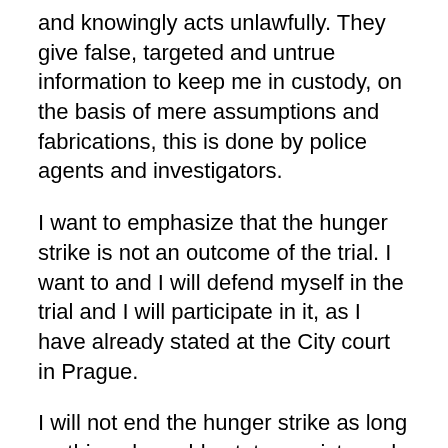and knowingly acts unlawfully. They give false, targeted and untrue information to keep me in custody, on the basis of mere assumptions and fabrications, this is done by police agents and investigators.
I want to emphasize that the hunger strike is not an outcome of the trial. I want to and I will defend myself in the trial and I will participate in it, as I have already stated at the City court in Prague.
I will not end the hunger strike as long as this unbearable state persists and until the immediate remedy in these respects:
Immediate withdrawal of the false record on my sister given by R. Šlachta.
Immediate suspension of all unlawful and illegal